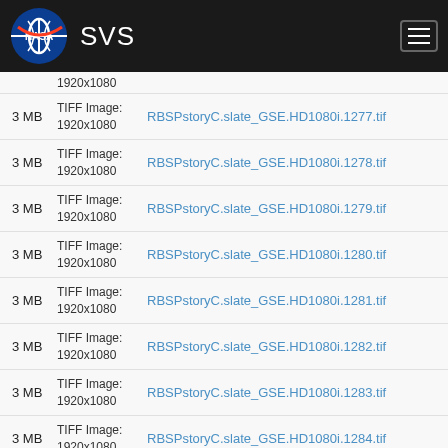NASA SVS
1920x1080
3 MB | TIFF Image: 1920x1080 | RBSPstoryC.slate_GSE.HD1080i.1277.tif
3 MB | TIFF Image: 1920x1080 | RBSPstoryC.slate_GSE.HD1080i.1278.tif
3 MB | TIFF Image: 1920x1080 | RBSPstoryC.slate_GSE.HD1080i.1279.tif
3 MB | TIFF Image: 1920x1080 | RBSPstoryC.slate_GSE.HD1080i.1280.tif
3 MB | TIFF Image: 1920x1080 | RBSPstoryC.slate_GSE.HD1080i.1281.tif
3 MB | TIFF Image: 1920x1080 | RBSPstoryC.slate_GSE.HD1080i.1282.tif
3 MB | TIFF Image: 1920x1080 | RBSPstoryC.slate_GSE.HD1080i.1283.tif
3 MB | TIFF Image: 1920x1080 | RBSPstoryC.slate_GSE.HD1080i.1284.tif
3 MB | TIFF Image: 1920x1080 | RBSPstoryC.slate_GSE.HD1080i.1285.tif
TIFF Image: